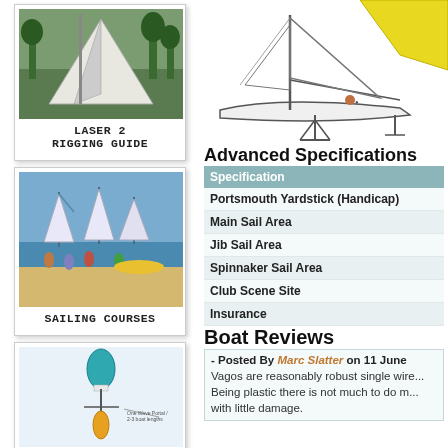[Figure (photo): Polaroid-style photo of a Laser 2 sailboat on land with trees in background, labeled 'Laser 2 Rigging Guide']
[Figure (photo): Polaroid-style photo of multiple sailboats and people on a beach/shore, labeled 'Sailing Courses']
[Figure (illustration): Polaroid-style illustration showing a sailboat diagram with wave portal notation]
[Figure (illustration): Line drawing of a Laser 2 sailboat with yellow sail from side view]
Advanced Specifications
| Specification |
| --- |
| Portsmouth Yardstick (Handicap) |
| Main Sail Area |
| Jib Sail Area |
| Spinnaker Sail Area |
| Club Scene Site |
| Insurance |
Boat Reviews
- Posted By Marc Slatter on 11 June ... Vagos are reasonably robust single wire... Being plastic there is not much to do m... with little damage.